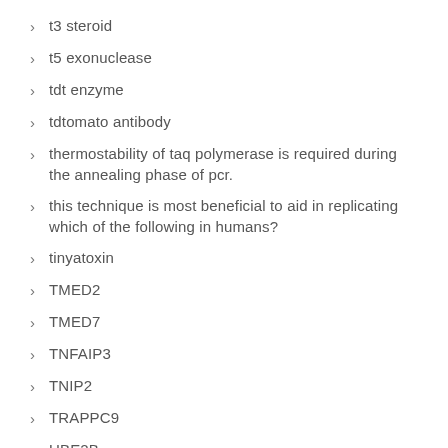t3 steroid
t5 exonuclease
tdt enzyme
tdtomato antibody
thermostability of taq polymerase is required during the annealing phase of pcr.
this technique is most beneficial to aid in replicating which of the following in humans?
tinyatoxin
TMED2
TMED7
TNFAIP3
TNIP2
TRAPPC9
UBE2B